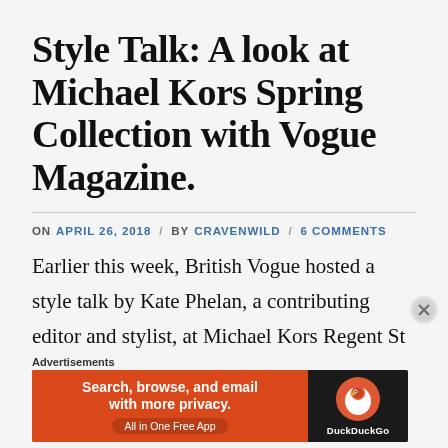Style Talk: A look at Michael Kors Spring Collection with Vogue Magazine.
ON APRIL 26, 2018 / BY CRAVENWILD / 6 COMMENTS
Earlier this week, British Vogue hosted a style talk by Kate Phelan, a contributing editor and stylist, at Michael Kors Regent St store, which I was excited to be invited to. Kate Phelan is a power player in the
[Figure (screenshot): DuckDuckGo advertisement banner: orange background with text 'Search, browse, and email with more privacy. All in One Free App' and DuckDuckGo logo on dark background.]